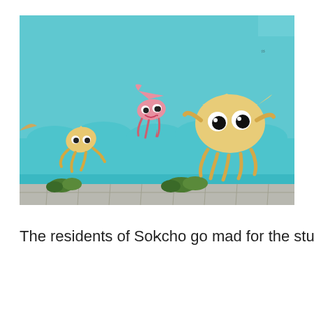[Figure (photo): A colorful mural painted on a wall in Sokcho, South Korea. Three cartoonish squid characters are depicted swimming against a bright turquoise/teal blue background with stylized wave patterns. One small yellow squid is on the left, a pink squid is in the upper center, and a large yellow squid is on the right. The bottom of the image shows a stone-paved sidewalk with small green plants growing along the base of the wall.]
The residents of Sokcho go mad for the stuff, with